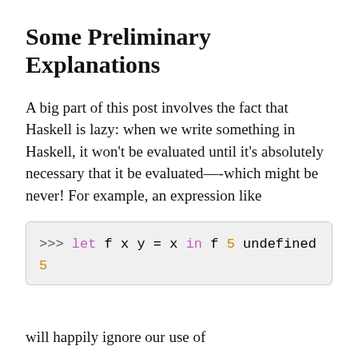Some Preliminary Explanations
A big part of this post involves the fact that Haskell is lazy: when we write something in Haskell, it won't be evaluated until it's absolutely necessary that it be evaluated—-which might be never! For example, an expression like
will happily ignore our use of